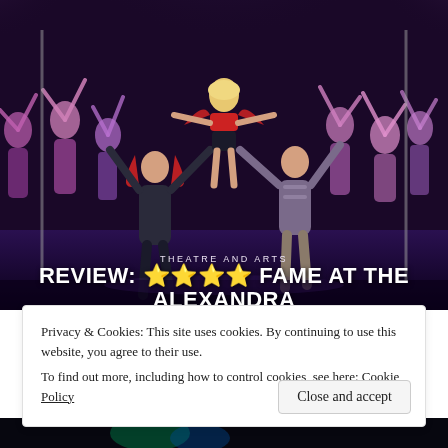[Figure (photo): Stage performance photo showing dancers and performers in a theatrical production of FAME. Center performer is a woman in red being lifted by two male dancers, surrounded by ensemble cast with arms raised, purple/violet stage lighting.]
THEATRE AND ARTS
REVIEW: ⭐⭐⭐⭐ FAME AT THE ALEXANDRA
Privacy & Cookies: This site uses cookies. By continuing to use this website, you agree to their use.
To find out more, including how to control cookies, see here: Cookie Policy
Close and accept
[Figure (photo): Partial view of another performance photo at the bottom of the page.]